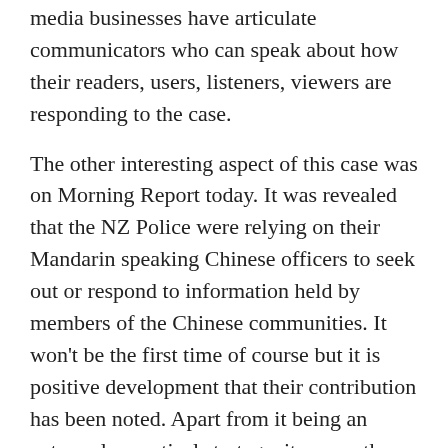media businesses have articulate communicators who can speak about how their readers, users, listeners, viewers are responding to the case.
The other interesting aspect of this case was on Morning Report today. It was revealed that the NZ Police were relying on their Mandarin speaking Chinese officers to seek out or respond to information held by members of the Chinese communities. It won't be the first time of course but it is positive development that their contribution has been noted. Apart from it being an extremely practical strategy, it means these Chinese police officers would feel their cultural and language skills were very much prized and valued for the contribution they can make to solving such a high profile case.
Another developing feature of the story will be the fate of little Qian Xun. Grandparents from both sides of her family will be travelling from China to Melbourne to be with her. I know if I were the mother of Anni Liu, the missing woman, I would feel extremely awkward and possibly angry